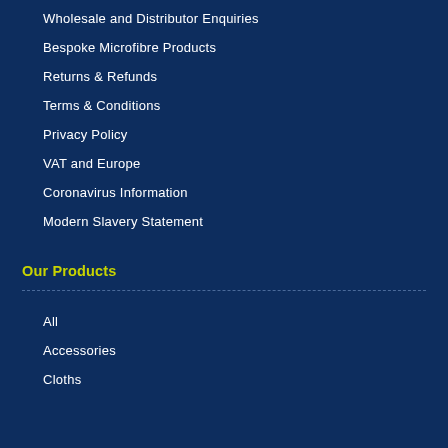Wholesale and Distributor Enquiries
Bespoke Microfibre Products
Returns & Refunds
Terms & Conditions
Privacy Policy
VAT and Europe
Coronavirus Information
Modern Slavery Statement
Our Products
All
Accessories
Cloths